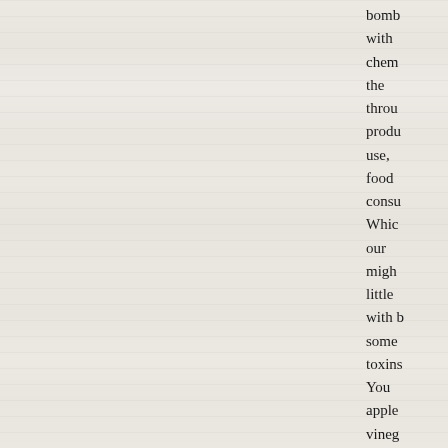bomb with chem the throu produ use, food consu Whic our migh little with b some toxins You apple vineg show areas your hands armpi help